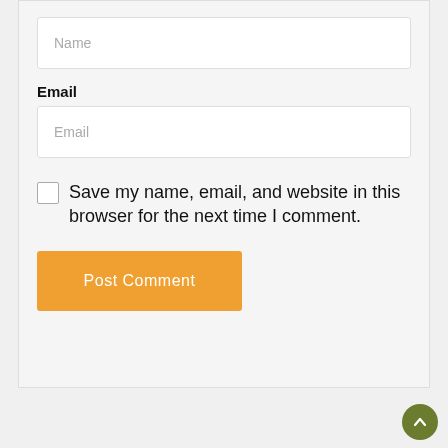Name
Email
Email
Save my name, email, and website in this browser for the next time I comment.
Post Comment